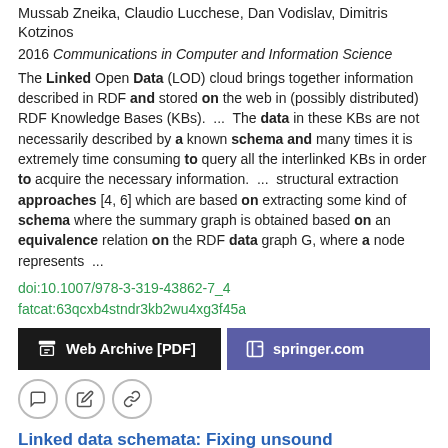Mussab Zneika, Claudio Lucchese, Dan Vodislav, Dimitris Kotzinos
2016 Communications in Computer and Information Science
The Linked Open Data (LOD) cloud brings together information described in RDF and stored on the web in (possibly distributed) RDF Knowledge Bases (KBs).  ...  The data in these KBs are not necessarily described by a known schema and many times it is extremely time consuming to query all the interlinked KBs in order to acquire the necessary information.  ...  structural extraction approaches [4, 6] which are based on extracting some kind of schema where the summary graph is obtained based on an equivalence relation on the RDF data graph G, where a node represents  ...
doi:10.1007/978-3-319-43862-7_4
fatcat:63qcxb4stndr3kb2wu4xg3f45a
Web Archive [PDF]
springer.com
Linked data schemata: Fixing unsound foundations